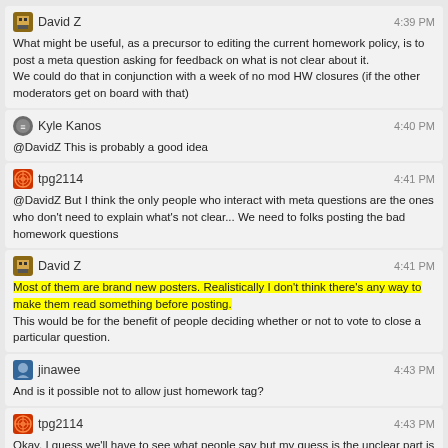David Z 4:39 PM
What might be useful, as a precursor to editing the current homework policy, is to post a meta question asking for feedback on what is not clear about it.
We could do that in conjunction with a week of no mod HW closures (if the other moderators get on board with that)
Kyle Kanos 4:40 PM
@DavidZ This is probably a good idea
tpg2114 4:41 PM
@DavidZ But I think the only people who interact with meta questions are the ones who don't need to explain what's not clear... We need to folks posting the bad homework questions
David Z 4:41 PM
Most of them are brand new posters. Realistically I don't think there's any way to make them read something before posting.
This would be for the benefit of people deciding whether or not to vote to close a particular question.
jinawee 4:43 PM
And is it possible not to allow just homework tag?
tpg2114 4:43 PM
Okay. I guess we'll have to see what people say but my guess is the unclear part is what constitutes homework itself. We've had discussions where some people equate it to the level of the question and not the content, or where "where is my mistake in the math" is okay if it's advanced topics but not for mechanics